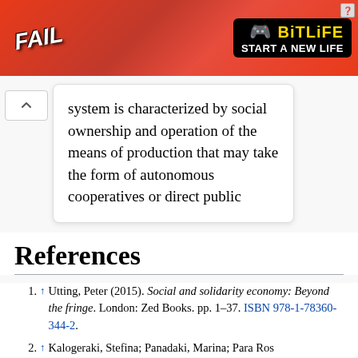[Figure (screenshot): Advertisement banner for BitLife game showing 'FAIL' text and 'START A NEW LIFE' tagline on red background]
system is characterized by social ownership and operation of the means of production that may take the form of autonomous cooperatives or direct public
References
1. ↑ Utting, Peter (2015). Social and solidarity economy: Beyond the fringe. London: Zed Books. pp. 1–37. ISBN 978-1-78360-344-2.
2. ↑ Kalogeraki, Stefina; Panadaki, Marina; Para Ros...